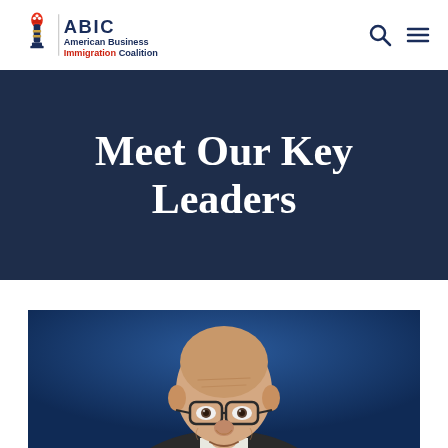ABIC — American Business Immigration Coalition
Meet Our Key Leaders
[Figure (photo): Portrait photograph of a bald older man wearing glasses, shown from shoulders up against a dark blue background, cropped at bottom of frame]